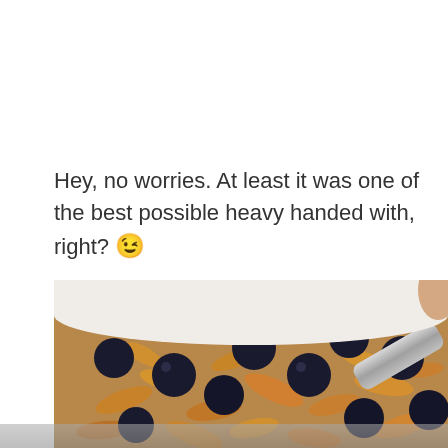Hey, no worries. At least it was one of the best possible heavy handed with, right? 😉
[Figure (photo): A close-up photo of a white bowl filled with oatmeal or granola topped with fresh blueberries and toasted oat flakes, with a metal spoon visible on the right side.]